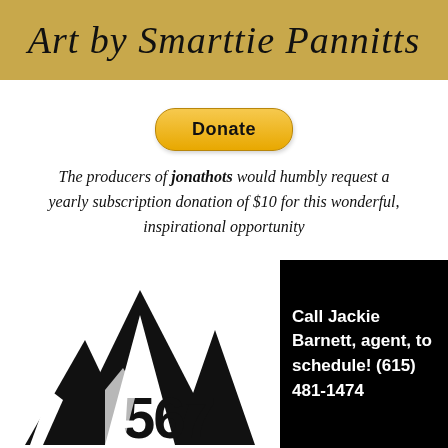[Figure (illustration): Handwritten-style text on golden/tan background reading 'Art by Smarttie Pannitts']
[Figure (illustration): Yellow PayPal Donate button with black text]
The producers of jonathots would humbly request a yearly subscription donation of $10 for this wonderful, inspirational opportunity
[Figure (logo): Mountain peak logo with '567' text overlaid in large numerals, black on white]
Call Jackie Barnett, agent, to schedule! (615) 481-1474